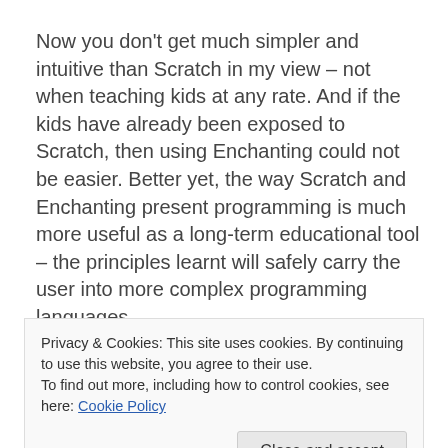Now you don't get much simpler and intuitive than Scratch in my view – not when teaching kids at any rate. And if the kids have already been exposed to Scratch, then using Enchanting could not be easier. Better yet, the way Scratch and Enchanting present programming is much more useful as a long-term educational tool – the principles learnt will safely carry the user into more complex programming languages.
All in all, I cannot recommend
Enchanting highly enough for use when teaching
being given a shout-out thanks on the home page.